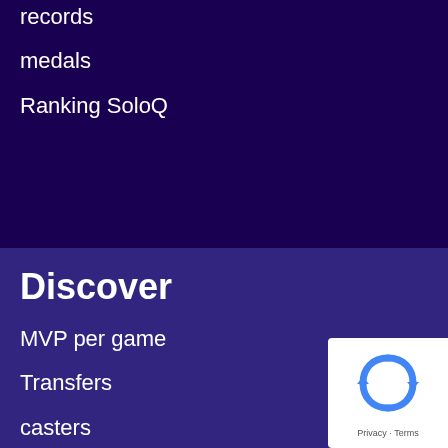records
medals
Ranking SoloQ
Discover
MVP per game
Transfers
casters
bars and venues
players bag
Hall of F...
[Figure (logo): Google reCAPTCHA badge with recycling-arrow logo icon and Privacy · Terms text]